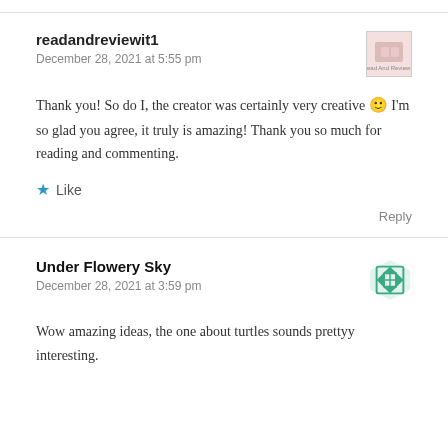readandreviewit1
December 28, 2021 at 5:55 pm
Thank you! So do I, the creator was certainly very creative 🙂 I'm so glad you agree, it truly is amazing! Thank you so much for reading and commenting.
★ Like
Reply
Under Flowery Sky
December 28, 2021 at 3:59 pm
Wow amazing ideas, the one about turtles sounds prettyy interesting.